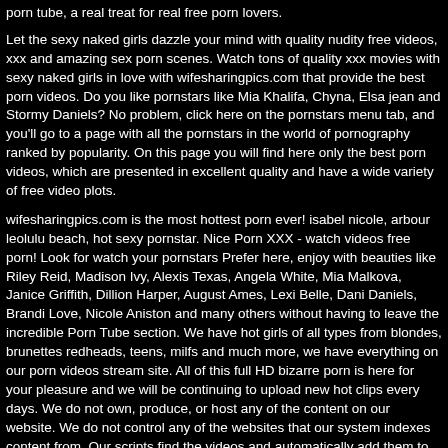porn tube, a real treat for real free porn lovers.
Let the sexy naked girls dazzle your mind with quality nudity free videos, xxx and amazing sex porn scenes. Watch tons of quality xxx movies with sexy naked girls in love with wifesharingpics.com that provide the best porn videos. Do you like pornstars like Mia Khalifa, Chyna, Elsa jean and Stormy Daniels? No problem, click here on the pornstars menu tab, and you'll go to a page with all the pornstars in the world of pornography ranked by popularity. On this page you will find here only the best porn videos, which are presented in excellent quality and have a wide variety of free video plots.
wifesharingpics.com is the most hottest porn ever! isabel nicole, arbour leolulu beach, hot sexy pornstar. Nice Porn XXX - watch videos free porn! Look for watch your pornstars Prefer here, enjoy with beauties like Riley Reid, Madison Ivy, Alexis Texas, Angela White, Mia Malkova, Janice Griffith, Dillion Harper, August Ames, Lexi Belle, Dani Daniels, Brandi Love, Nicole Aniston and many others without having to leave the incredible Porn Tube section. We have hot girls of all types from blondes, brunettes redheads, teens, milfs and much more, we have everything on our porn videos stream site. All of this full HD bizarre porn is here for your pleasure and we will be continuing to upload new hot clips every days. We do not own, produce, or host any of the content on our website. We do not control any of the websites that our system indexes content from. Our scripts find the videos and automatically add them to our site. The sites that we find content from are all 2257 compliant and DMCA compliant.